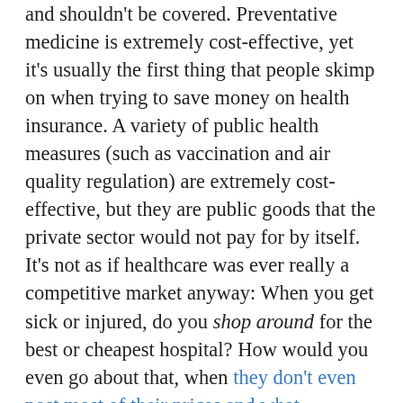and shouldn't be covered. Preventative medicine is extremely cost-effective, yet it's usually the first thing that people skimp on when trying to save money on health insurance. A variety of public health measures (such as vaccination and air quality regulation) are extremely cost-effective, but they are public goods that the private sector would not pay for by itself.
It's not as if healthcare was ever really a competitive market anyway: When you get sick or injured, do you shop around for the best or cheapest hospital? How would you even go about that, when they don't even post most of their prices and what ...